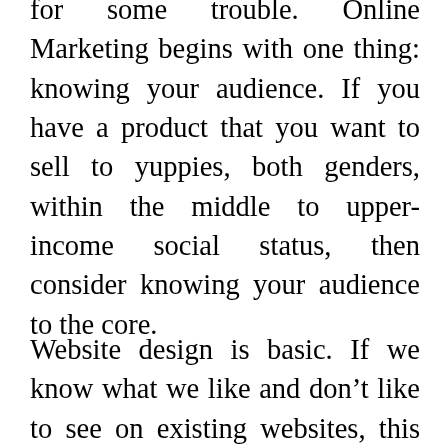for some trouble. Online Marketing begins with one thing: knowing your audience. If you have a product that you want to sell to yuppies, both genders, within the middle to upper-income social status, then consider knowing your audience to the core.
Website design is basic. If we know what we like and don't like to see on existing websites, this will come easy.